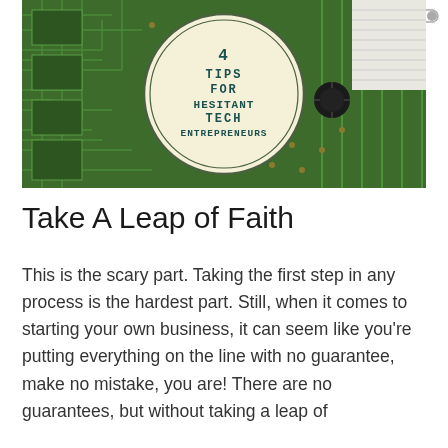[Figure (illustration): Green circuit board background image with a circular cream/beige colored badge overlay in the center containing bold dark teal text reading '4 TIPS FOR HESITANT TECH ENTREPRENEURS' in a blocky pixel-style font, with a double circle border around the badge.]
Take A Leap of Faith
This is the scary part. Taking the first step in any process is the hardest part. Still, when it comes to starting your own business, it can seem like you're putting everything on the line with no guarantee, make no mistake, you are! There are no guarantees, but without taking a leap of